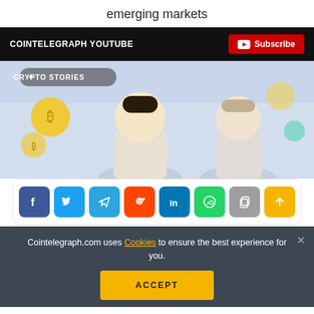emerging markets
[Figure (screenshot): Cointelegraph YouTube banner with black background and Subscribe button]
[Figure (illustration): Animated Crypto Stories YouTube thumbnail with two cartoon male characters]
[Figure (infographic): Social sharing icon bar with Facebook, Twitter, Telegram, Reddit, LinkedIn, WhatsApp, Copy, and Scroll-up buttons]
Cointelegraph.com uses Cookies to ensure the best experience for you.
ACCEPT